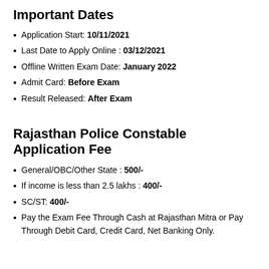Important Dates
Application Start: 10/11/2021
Last Date to Apply Online : 03/12/2021
Offline Written Exam Date: January 2022
Admit Card: Before Exam
Result Released: After Exam
Rajasthan Police Constable Application Fee
General/OBC/Other State : 500/-
If income is less than 2.5 lakhs : 400/-
SC/ST: 400/-
Pay the Exam Fee Through Cash at Rajasthan Mitra or Pay Through Debit Card, Credit Card, Net Banking Only.